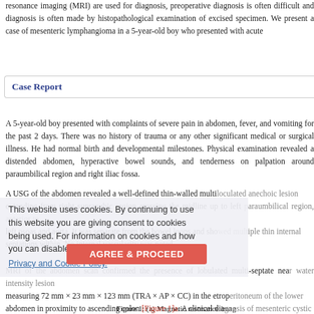resonance imaging (MRI) are used for diagnosis, preoperative diagnosis is often difficult and diagnosis is often made by histopathological examination of excised specimen. We present a case of mesenteric lymphangioma in a 5-year-old boy who presented with acute
Case Report
A 5-year-old boy presented with complaints of severe pain in abdomen, fever, and vomiting for the past 2 days. There was no history of trauma or any other significant medical or surgical illness. He had normal birth and developmental milestones. Physical examination revealed a distended abdomen, hyperactive bowel sounds, and tenderness on palpation around paraumbilical region and right iliac fossa.
A USG of the abdomen revealed a well-defined thin-walled multiloculated anechoic lesion extending from right suprapubic region crossing the midline up to left paraumbilical region, anterior to left psoas and aorta. It was separate from the bowel loops and showed multiple thin internal septations within. No internal vascularity was noted.
MRI of the abdomen scan confirmed the presence of lobulated multi-septate near water intensity lesion measuring 72 mm × 23 mm × 123 mm (TRA × AP × CC) in the etroperitoneum of the lower abdomen in proximity to ascending colon [Figure 1]a. A clinical diagnosis of mesenteric cystic lesion was made.
Figure 1: (a) Magnetic resonance imag